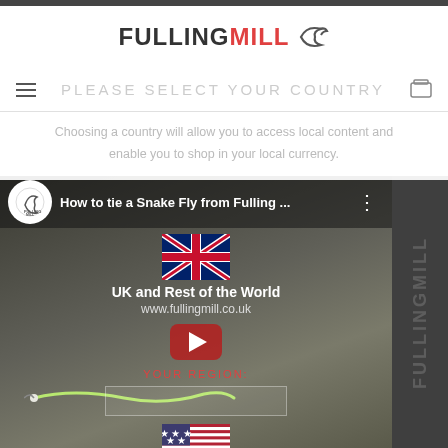[Figure (logo): Fulling Mill logo with stylized fish hook icon and brand name in bold]
PLEASE SELECT YOUR COUNTRY
Choosing a country will allow you to access local content and enable you to shop in your local currency.
[Figure (screenshot): Embedded YouTube video thumbnail showing 'How to tie a Snake Fly from Fulling ...' with country selection overlay showing UK flag, US flag, UK and Rest of the World option with www.fullingmill.co.uk, YOUR REGION selector, and Fulling Mill branding on the right side]